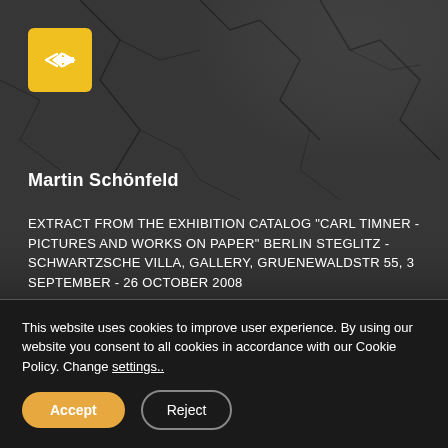[Figure (screenshot): Dark cracked concrete/stone background texture covering upper portion of the page]
[Figure (logo): Yellow square button with white left-right arrow icon (back navigation button)]
Martin Schönfeld
EXTRACT FROM THE EXHIBITION CATALOG "CARL TIMNER - PICTURES AND WORKS ON PAPER" BERLIN STEGLITZ - SCHWARTZSCHE VILLA, GALLERY, GRUENEWALDSTR 55, 3 SEPTEMBER - 26 OCTOBER 2008
ARTICLE BY MARTIN
This website uses cookies to improve user experience. By using our website you consent to all cookies in accordance with our Cookie Policy. Change settings..
Accept
Reject